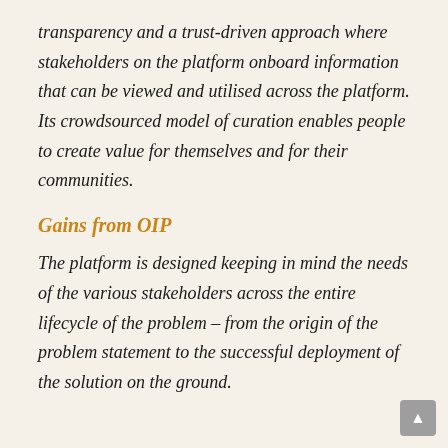transparency and a trust-driven approach where stakeholders on the platform onboard information that can be viewed and utilised across the platform. Its crowdsourced model of curation enables people to create value for themselves and for their communities.
Gains from OIP
The platform is designed keeping in mind the needs of the various stakeholders across the entire lifecycle of the problem – from the origin of the problem statement to the successful deployment of the solution on the ground.